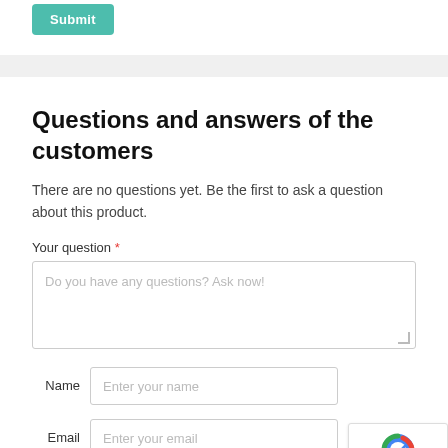[Figure (other): Green Submit button (teal/turquoise color), partially visible at top]
Questions and answers of the customers
There are no questions yet. Be the first to ask a question about this product.
Your question *
Do you have any questions? Ask now!
Name  Enter your name
Email  Enter your email